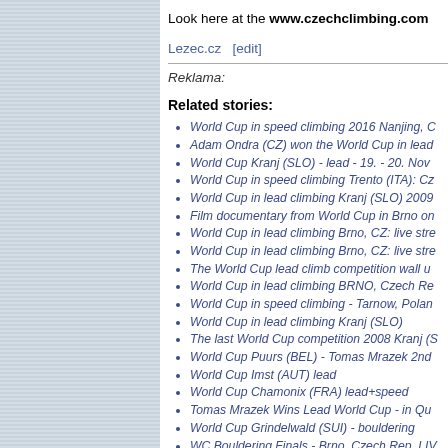Look here at the www.czechclimbing.com
Lezec.cz  [edit]
Reklama:
Related stories:
World Cup in speed climbing 2016 Nanjing, C
Adam Ondra (CZ) won the World Cup in lead
World Cup Kranj (SLO) - lead - 19. - 20. Nov
World Cup in speed climbing Trento (ITA): Cz
World Cup in lead climbing Kranj (SLO) 2009
Film documentary from World Cup in Brno on
World Cup in lead climbing Brno, CZ: live stre
World Cup in lead climbing Brno, CZ: live stre
The World Cup lead climb competition wall u
World Cup in lead climbing BRNO, Czech Re
World Cup in speed climbing - Tarnow, Polan
World Cup in lead climbing Kranj (SLO)
The last World Cup competition 2008 Kranj (S
World Cup Puurs (BEL) - Tomas Mrazek 2nd
World Cup Imst (AUT) lead
World Cup Chamonix (FRA) lead+speed
Tomas Mrazek Wins Lead World Cup - in Qu
World Cup Grindelwald (SUI) - bouldering
WC Bouldering Finals - Brno, Czech Rep, LIV
WC Bouldering, Brno (CZE) - Semifinals Men
World Cup in bouldering Brno (CZE) 2007 - w
World Cup in bouldering Brno (CZE) 2007 - m
Sponsors on the stage